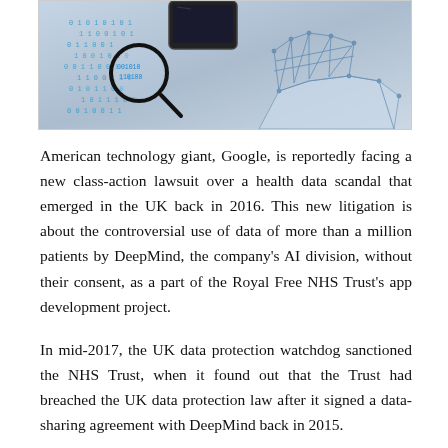[Figure (photo): A hand made of geometric mesh/wireframe holding a smartphone, with binary code (0s and 1s) floating around it, and a magnifying glass in the foreground. The image relates to digital data and technology.]
American technology giant, Google, is reportedly facing a new class-action lawsuit over a health data scandal that emerged in the UK back in 2016. This new litigation is about the controversial use of data of more than a million patients by DeepMind, the company's AI division, without their consent, as a part of the Royal Free NHS Trust's app development project.
In mid-2017, the UK data protection watchdog sanctioned the NHS Trust, when it found out that the Trust had breached the UK data protection law after it signed a data-sharing agreement with DeepMind back in 2015.